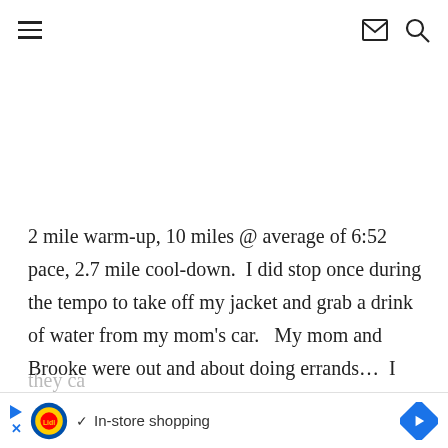☰  ✉ 🔍
2 mile warm-up, 10 miles @ average of 6:52 pace, 2.7 mile cool-down.  I did stop once during the tempo to take off my jacket and grab a drink of water from my mom's car.   My mom and Brooke were out and about doing errands...  I told them my route before I left and they ca
[Figure (other): Advertisement banner: Lidl logo with 'In-store shopping' text and navigation arrow icon]